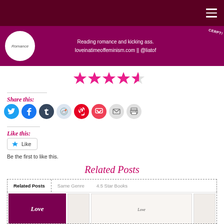≡ (navigation/hamburger menu)
[Figure (illustration): Blog banner with purple background, circle logo showing 'Romance', text 'Reading romance and kicking ass. loveinatimeoffeminism.com || @liatof', and a torn paper corner with 'CERPT!']
[Figure (other): 4.5 out of 5 star rating shown with filled and half-filled star icons in pink/magenta]
Share this:
[Figure (infographic): Row of social share buttons: Twitter (blue bird), Facebook (blue f), Tumblr (dark blue t), Reddit (light blue), Pinterest (red P), Pocket (red), Email (grey envelope), Print (grey printer)]
Like this:
[Figure (screenshot): WordPress Like button widget with blue star icon and 'Like' text]
Be the first to like this.
Related Posts
Related Posts    Same Genre    4.5 Star Books
[Figure (photo): Book cover thumbnails in a related posts widget strip — 'Love' title visible on the left card in dark pink, and smaller book thumbnails on the right]